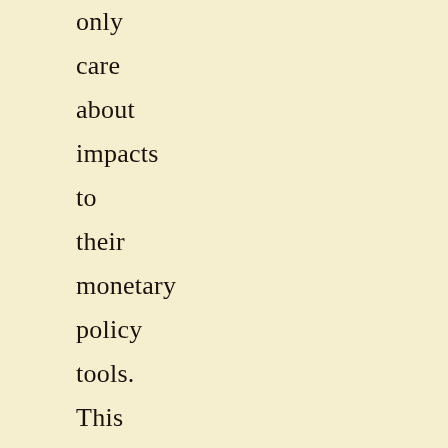only care about impacts to their monetary policy tools. This can be managed by nationalizing mining operations, issuing additional